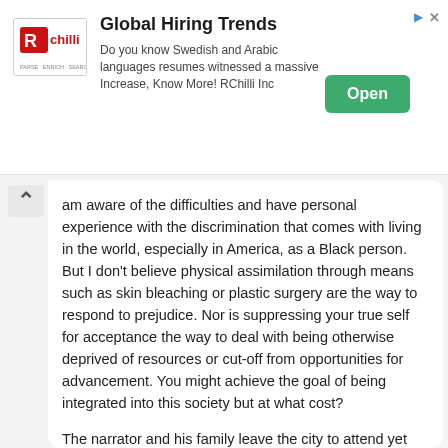[Figure (screenshot): RChilli advertisement banner with logo, headline 'Global Hiring Trends', body text about Swedish and Arabic language resumes, and a green 'Open' button.]
am aware of the difficulties and have personal experience with the discrimination that comes with living in the world, especially in America, as a Black person. But I don't believe physical assimilation through means such as skin bleaching or plastic surgery are the way to respond to prejudice. Nor is suppressing your true self for acceptance the way to deal with being otherwise deprived of resources or cut-off from opportunities for advancement. You might achieve the goal of being integrated into this society but at what cost?
The narrator and his family leave the city to attend yet another company outing this time in